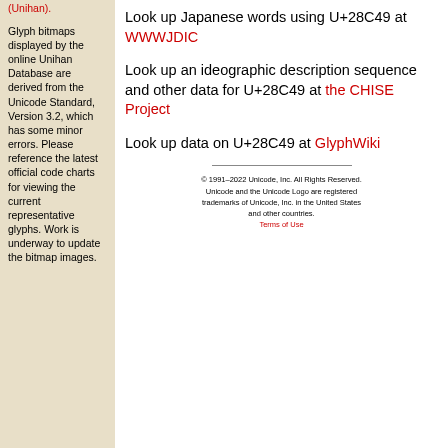(Unihan).
Glyph bitmaps displayed by the online Unihan Database are derived from the Unicode Standard, Version 3.2, which has some minor errors. Please reference the latest official code charts for viewing the current representative glyphs. Work is underway to update the bitmap images.
Look up Japanese words using U+28C49 at WWWJDIC
Look up an ideographic description sequence and other data for U+28C49 at the CHISE Project
Look up data on U+28C49 at GlyphWiki
© 1991–2022 Unicode, Inc. All Rights Reserved. Unicode and the Unicode Logo are registered trademarks of Unicode, Inc. in the United States and other countries. Terms of Use